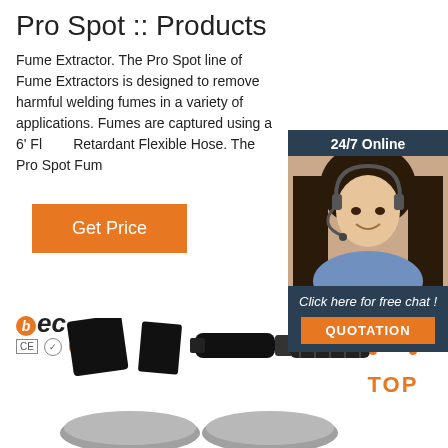Pro Spot :: Products
Fume Extractor. The Pro Spot line of Fume Extractors is designed to remove harmful welding fumes in a variety of applications. Fumes are captured using a 6' Flame Retardant Flexible Hose. The Pro Spot Fum...
[Figure (other): Orange 'Get Price' button]
[Figure (other): 24/7 Online chat widget with female customer service representative photo and QUOTATION button]
[Figure (logo): BEC logo with CE certification marks]
[Figure (photo): Product image showing fume extractor components — black panels/parts and gray circular bases at bottom of page]
[Figure (other): Orange TOP button with dotted triangle/arrow icon]